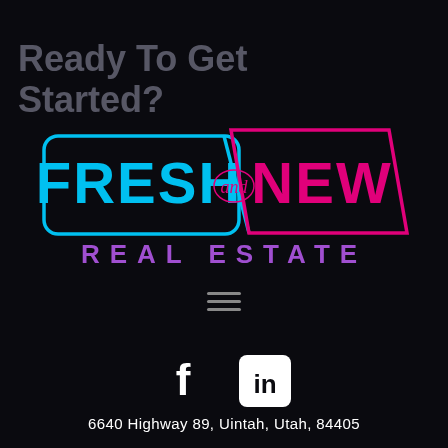Ready To Get Started?
[Figure (logo): Fresh and New Real Estate logo. 'FRESH' in blue bold stylized text inside a blue rounded rectangle, 'and' in small script, 'NEW' in hot pink bold stylized text inside a pink parallelogram shape, 'REAL ESTATE' in purple spaced capital letters below.]
[Figure (other): Hamburger menu icon — three horizontal gray lines]
[Figure (other): Facebook icon (white 'f' on dark rounded square) and LinkedIn icon (white 'in' on white rounded square)]
6640 Highway 89, Uintah, Utah, 84405